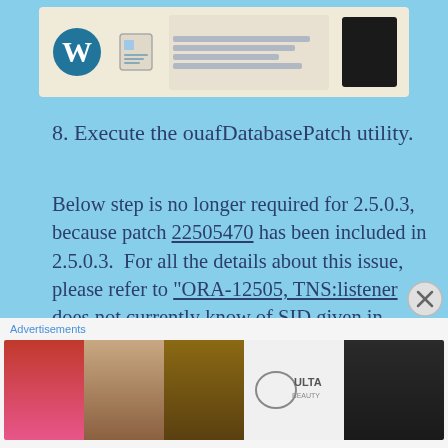[Figure (screenshot): Top portion of a webpage screenshot showing WordPress and other UI elements on a light beige background]
8. Execute the ouafDatabasePatch utility.
Below step is no longer required for 2.5.0.3, because patch 22505470 has been included in 2.5.0.3. For all the details about this issue, please refer to “ORA-12505, TNS:listener does not currently know of SID given in connect descriptor” from ORMB ouafDatabasePatch
Before executing ouafDatabasePatch utility, we
[Figure (screenshot): Advertisement banner showing Ulta beauty products with SHOP NOW call to action]